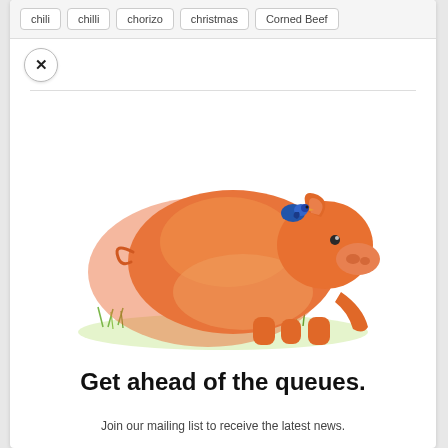chili  chilli  chorizo  christmas  Corned Beef
[Figure (illustration): Illustration of an orange pig running through grass with a small blue bird perched on its back]
Get ahead of the queues.
Join our mailing list to receive the latest news.